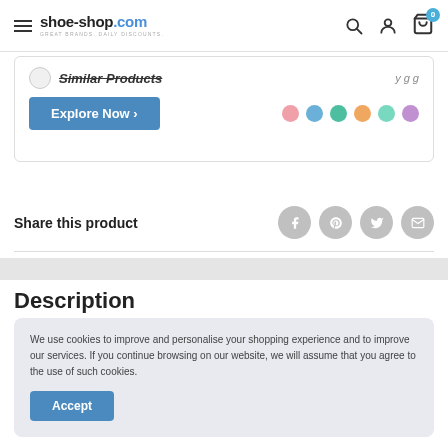shoe-shop.com — Great brands. Daily discounts.
[Figure (screenshot): Partial product card showing 'Similar Products' heading with circle icon, 'Explore Now ›' blue button on left, and 6 color dot swatches (pink, blue, teal, orange, mint, purple) on right]
Share this product
[Figure (infographic): Four grey circular social share icons: Facebook (f), Pinterest (P), Twitter (bird), Email (envelope)]
Description
We use cookies to improve and personalise your shopping experience and to improve our services. If you continue browsing on our website, we will assume that you agree to the use of such cookies.